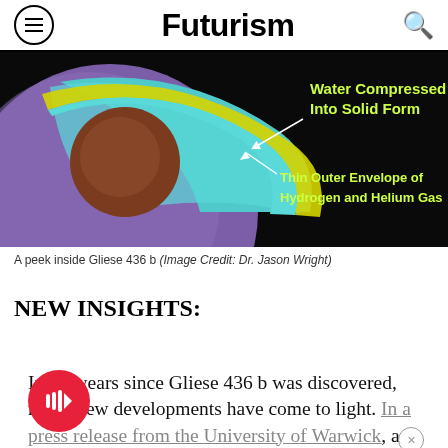Futurism
[Figure (illustration): Cross-section diagram of exoplanet Gliese 436 b showing internal layers: a purple outer sphere, with labeled annotations: 'Water Compressed Into Solid Form' and 'Thin Outer Envelope of Hydrogen and Helium Gas' with arrows pointing to respective layers. The interior shows teal, brown, and yellow layered regions.]
A peek inside Gliese 436 b (Image Credit: Dr. Jason Wright)
NEW INSIGHTS:
In the years since Gliese 436 b was discovered, many new developments have come to light. In a press release from the University of Warwick, a team of researchers revealed that some of the